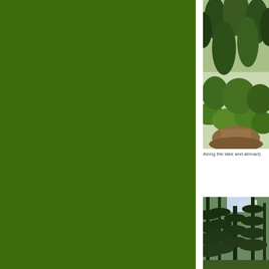[Figure (photo): Large green block occupying left two-thirds of the page, forest green background color]
[Figure (photo): Forest trail photo showing dense green ferns, shrubs and conifer trees along a dirt path]
Along the lake and abroad)
[Figure (photo): Forest photo showing tall conifer trees with sunlight filtering through the canopy]